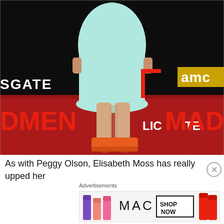[Figure (photo): Photo of Elisabeth Moss (lower body) in a mint/aqua dress and orange heels on a red carpet at a Mad Men premiere event, with Lionsgate and AMC logos visible on the backdrop]
As with Peggy Olson, Elisabeth Moss has really upped her
Advertisements
[Figure (photo): MAC Cosmetics advertisement banner showing colorful lipsticks and SHOP NOW call-to-action]